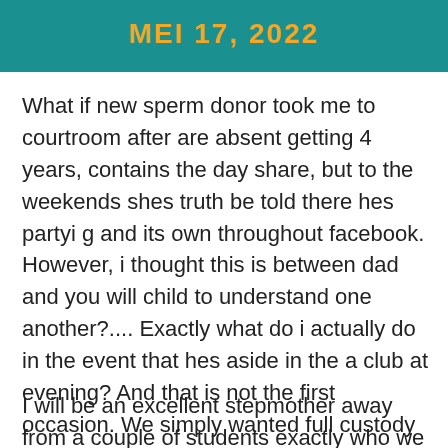MEI 17, 2022
What if new sperm donor took me to courtroom after are absent getting 4 years, contains the day share, but to the weekends shes truth be told there hes partyi g and its own throughout facebook. However, i thought this is between dad and you will child to understand one another?.... Exactly what do i actually do in the event that hes aside in the a club at evening? And that is not the first occasion. We simply wanted full custody of their. This guy is still similar to a teen.
I will be an excellent stepmother away from a couple of students exactly who we currently